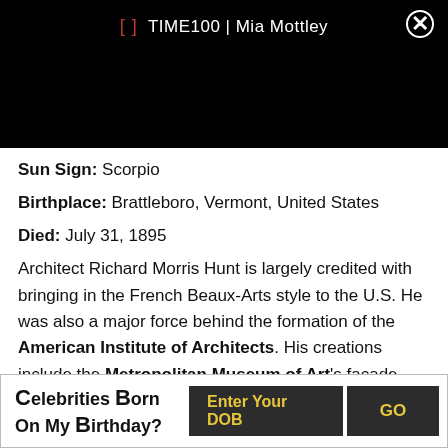TIME100 | Mia Mottley
Sun Sign: Scorpio
Birthplace: Brattleboro, Vermont, United States
Died: July 31, 1895
Architect Richard Morris Hunt is largely credited with bringing in the French Beaux-Arts style to the U.S. He was also a major force behind the formation of the American Institute of Architects. His creations include the Metropolitan Museum of Art's façade and the Statue of Liberty's pedestal.
Celebrities Born On My Birthday? Enter Your DOB GO